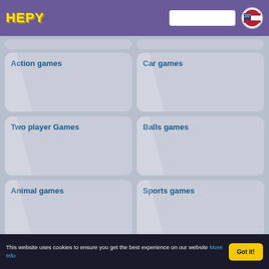[Figure (logo): HEPY logo in yellow bold text on purple header]
Action games
Car games
Two player Games
Balls games
Animal games
Sports games
This website uses cookies to ensure you get the best experience on our website More Info
Got it!